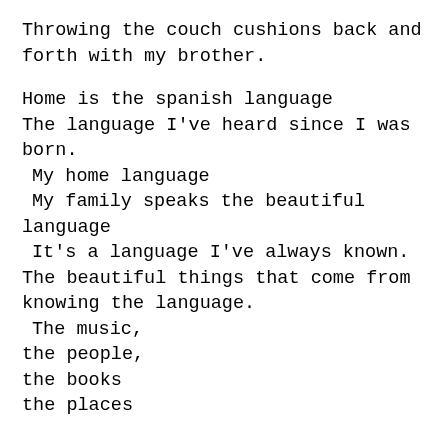Throwing the couch cushions back and forth with my brother.
Home is the spanish language
The language I've heard since I was born.
 My home language
 My family speaks the beautiful language
 It's a language I've always known.
The beautiful things that come from knowing the language.
 The music,
the people,
the books
the places